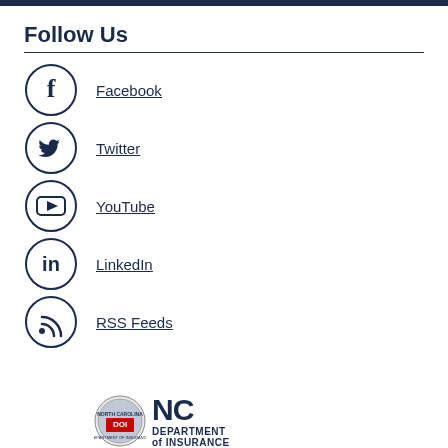Follow Us
Facebook
Twitter
YouTube
LinkedIn
RSS Feeds
[Figure (logo): NC Department of Insurance seal and wordmark logo at bottom of page]